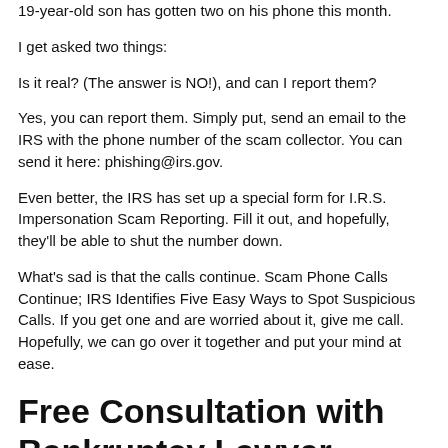19-year-old son has gotten two on his phone this month.
I get asked two things:
Is it real? (The answer is NO!), and can I report them?
Yes, you can report them. Simply put, send an email to the IRS with the phone number of the scam collector. You can send it here: phishing@irs.gov.
Even better, the IRS has set up a special form for I.R.S. Impersonation Scam Reporting. Fill it out, and hopefully, they'll be able to shut the number down.
What's sad is that the calls continue. Scam Phone Calls Continue; IRS Identifies Five Easy Ways to Spot Suspicious Calls. If you get one and are worried about it, give me call. Hopefully, we can go over it together and put your mind at ease.
Free Consultation with Bankruptcy Lawyer